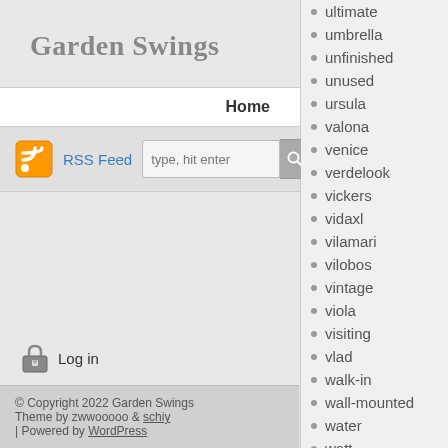Garden Swings
Home
RSS Feed  type, hit enter
ultimate
umbrella
unfinished
unused
ursula
valona
venice
verdelook
vickers
vidaxl
vilamari
vilobos
vintage
viola
visiting
vlad
walk-in
wall-mounted
water
watt
weatherly
Log in
© Copyright 2022 Garden Swings
Theme by zwwooooo & schiy
| Powered by WordPress